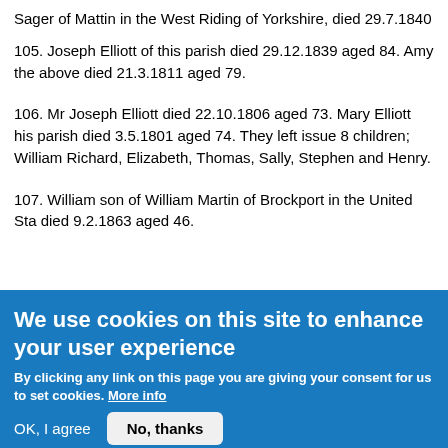Sager of Mattin in the West Riding of Yorkshire, died 29.7.1840
105. Joseph Elliott of this parish died 29.12.1839 aged 84. Amy the above died 21.3.1811 aged 79.
106. Mr Joseph Elliott died 22.10.1806 aged 73. Mary Elliott his parish died 3.5.1801 aged 74. They left issue 8 children; William Richard, Elizabeth, Thomas, Sally, Stephen and Henry.
107. William son of William Martin of Brockport in the United Sta died 9.2.1863 aged 46.
We use cookies on this site to enhance your user experience
By clicking any link on this page you are giving your consent for us to set cookies. More info
OK, I agree
No, thanks